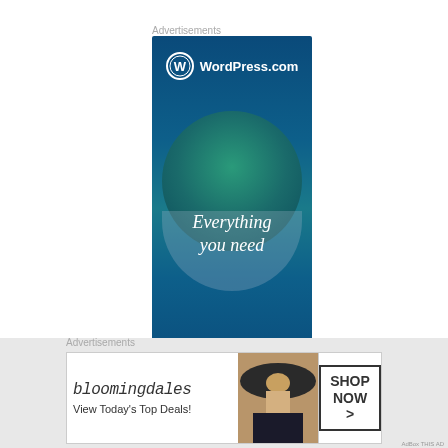Advertisements
[Figure (illustration): WordPress.com advertisement banner showing logo at top, large decorative circles in teal/blue gradients, text 'Everything you need' in center, and 'Anything' at the bottom on a blue gradient background]
[Figure (other): Close/dismiss button (circled X) on the right side]
Advertisements
[Figure (illustration): Bloomingdale's advertisement showing logo, tagline 'View Today's Top Deals!', model wearing a large hat, and a 'SHOP NOW >' button]